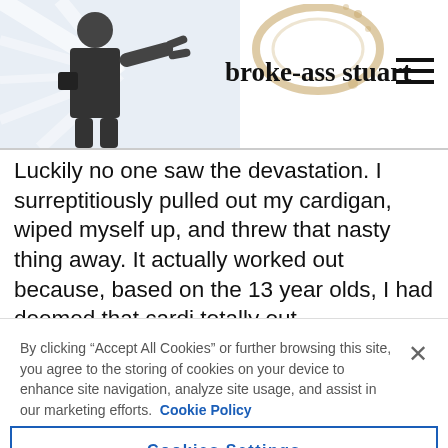[Figure (screenshot): Website header for broke-ass stuart with man figure on left, bold title text, and hamburger menu icon on right]
Luckily no one saw the devastation. I surreptitiously pulled out my cardigan, wiped myself up, and threw that nasty thing away. It actually worked out because, based on the 13 year olds, I had deemed that cardi totally out
By clicking “Accept All Cookies” or further browsing this site, you agree to the storing of cookies on your device to enhance site navigation, analyze site usage, and assist in our marketing efforts.  Cookie Policy
Cookies Settings
Reject All
Accept All Cookies